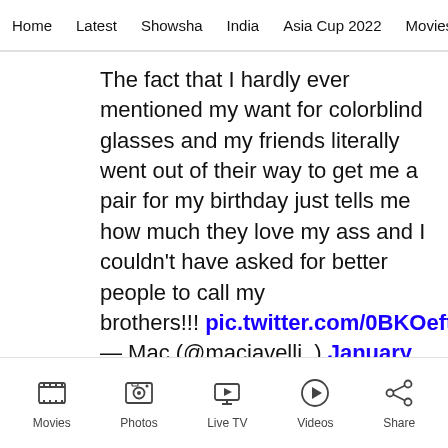Home | Latest | Showsha | India | Asia Cup 2022 | Movies | C
The fact that I hardly ever mentioned my want for colorblind glasses and my friends literally went out of their way to get me a pair for my birthday just tells me how much they love my ass and I couldn't have asked for better people to call my brothers!!! pic.twitter.com/0BKOeftxYC — Mac (@maciavelli_) January 4, 2021
Movies | Photos | Live TV | Videos | Share